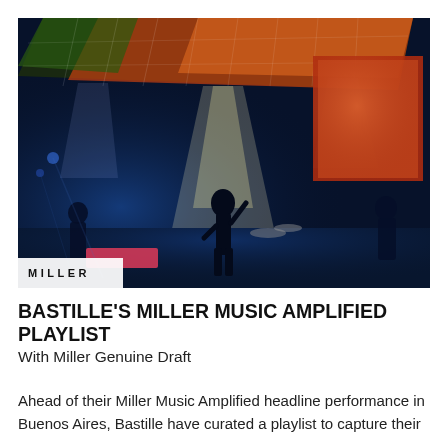[Figure (photo): Concert photo of Bastille performing on stage. A performer stands center stage with arms raised, silhouetted against dramatic spotlights. The venue features a large LED ceiling rig with orange and green colors, blue atmospheric lighting, and a large warm-toned screen on the right. A MILLER logo appears in white in the bottom left corner of the image.]
BASTILLE'S MILLER MUSIC AMPLIFIED PLAYLIST
With Miller Genuine Draft
Ahead of their Miller Music Amplified headline performance in Buenos Aires, Bastille have curated a playlist to capture their